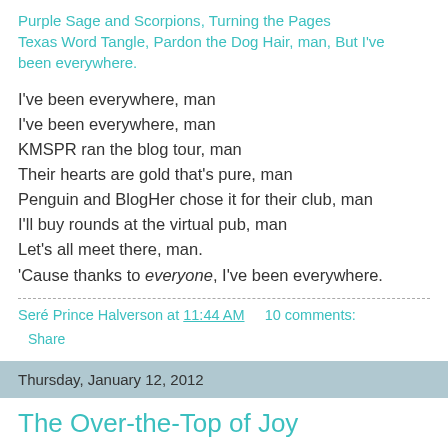Purple Sage and Scorpions, Turning the Pages Texas Word Tangle, Pardon the Dog Hair, man, But I've been everywhere.
I've been everywhere, man
I've been everywhere, man
KMSPR ran the blog tour, man
Their hearts are gold that's pure, man
Penguin and BlogHer chose it for their club, man
I'll buy rounds at the virtual pub, man
Let's all meet there, man.
'Cause thanks to everyone, I've been everywhere.
Seré Prince Halverson at 11:44 AM     10 comments:
Share
Thursday, January 12, 2012
The Over-the-Top of Joy